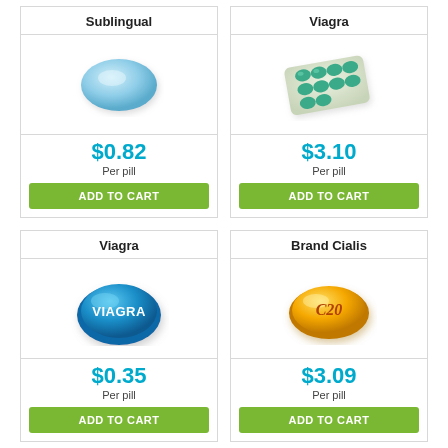Sublingual
[Figure (photo): Light blue diamond-shaped pill/tablet]
$0.82
Per pill
ADD TO CART
Viagra
[Figure (photo): Blister pack of green pills]
$3.10
Per pill
ADD TO CART
Viagra
[Figure (photo): Blue VIAGRA branded pill]
$0.35
Per pill
ADD TO CART
Brand Cialis
[Figure (photo): Orange/yellow almond-shaped pill with C20 marking]
$3.09
Per pill
ADD TO CART